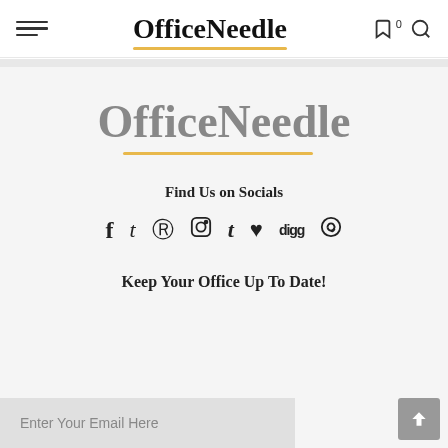OfficeNeedle
[Figure (logo): OfficeNeedle large logo with gold underline]
Find Us on Socials
[Figure (infographic): Social media icons row: Facebook, Twitter, Pinterest, Instagram, Tumblr, heart, Digg, Reddit]
Keep Your Office Up To Date!
Enter Your Email Here